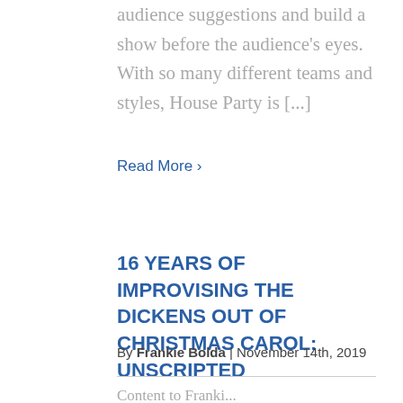audience suggestions and build a show before the audience's eyes.  With so many different teams and styles, House Party is [...]
Read More ›
16 YEARS OF IMPROVISING THE DICKENS OUT OF CHRISTMAS CAROL: UNSCRIPTED
By Frankie Bolda | November 14th, 2019
Content to Franki...